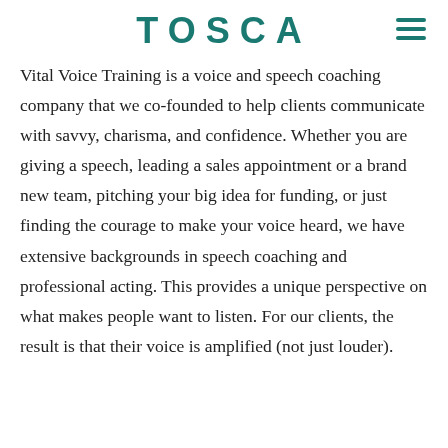TOSCA
Vital Voice Training is a voice and speech coaching company that we co-founded to help clients communicate with savvy, charisma, and confidence. Whether you are giving a speech, leading a sales appointment or a brand new team, pitching your big idea for funding, or just finding the courage to make your voice heard, we have extensive backgrounds in speech coaching and professional acting. This provides a unique perspective on what makes people want to listen. For our clients, the result is that their voice is amplified (not just louder).